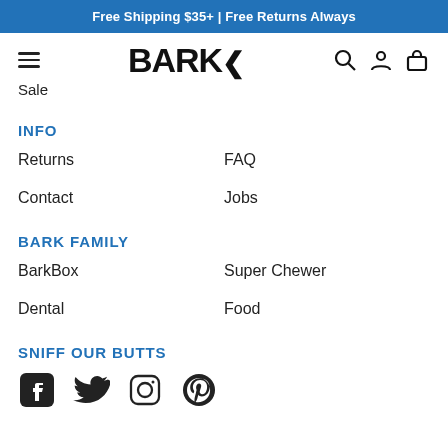Free Shipping $35+ | Free Returns Always
[Figure (logo): BARK logo with hamburger menu, search, account, and bag icons]
Sale
INFO
Returns
FAQ
Contact
Jobs
BARK FAMILY
BarkBox
Super Chewer
Dental
Food
SNIFF OUR BUTTS
[Figure (other): Social media icons: Facebook, Twitter, Instagram, Pinterest]